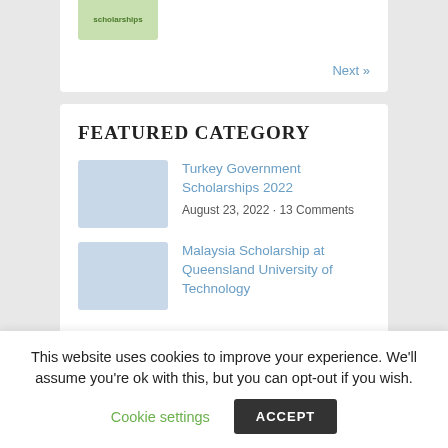Next »
FEATURED CATEGORY
Turkey Government Scholarships 2022
August 23, 2022 · 13 Comments
Malaysia Scholarship at Queensland University of Technology
This website uses cookies to improve your experience. We'll assume you're ok with this, but you can opt-out if you wish.
Cookie settings
ACCEPT